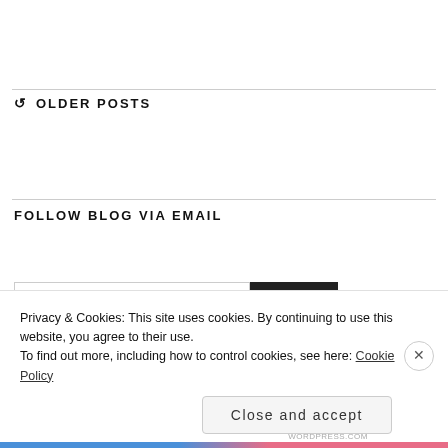OLDER POSTS
FOLLOW BLOG VIA EMAIL
Privacy & Cookies: This site uses cookies. By continuing to use this website, you agree to their use.
To find out more, including how to control cookies, see here: Cookie Policy
Close and accept